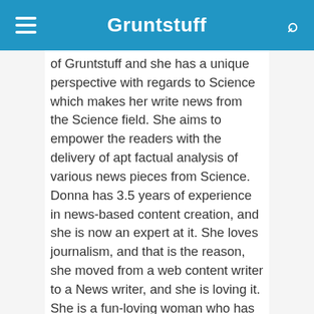Gruntstuff
of Gruntstuff and she has a unique perspective with regards to Science which makes her write news from the Science field. She aims to empower the readers with the delivery of apt factual analysis of various news pieces from Science. Donna has 3.5 years of experience in news-based content creation, and she is now an expert at it. She loves journalism, and that is the reason, she moved from a web content writer to a News writer, and she is loving it. She is a fun-loving woman who has very good connections with every team member. She makes the working environment cheerful which improves the team's work productivity.